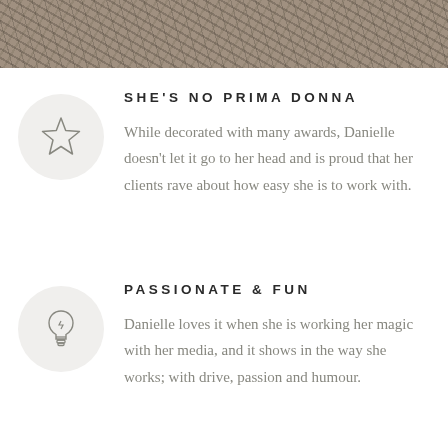[Figure (photo): Sepia-toned photo strip at the top of the page showing gravel or rocky texture]
SHE'S NO PRIMA DONNA
While decorated with many awards, Danielle doesn't let it go to her head and is proud that her clients rave about how easy she is to work with.
PASSIONATE & FUN
Danielle loves it when she is working her magic with her media, and it shows in the way she works; with drive, passion and humour.